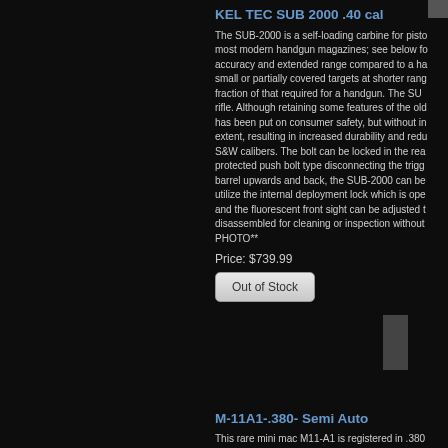KEL TEC SUB 2000 .40 cal
The SUB-2000 is a self-loading carbine for pisto most modern handgun magazines; see below fo accuracy and extended range compared to a ha small or partially covered targets at shorter rang fraction of that required for a handgun. The SU rifle. Although retaining some features of the ol has been put on consumer safety, but without in extent, resulting in increased durability and redu S&W calibers. The bolt can be locked in the re protected push bolt type disconnecting the trigg barrel upwards and back, the SUB-2000 can b utilize the internal deployment lock which is ope and the fluorescent front sight can be adjusted disassembled for cleaning or inspection without PHOTO**
Price: $739.99
Out of Stock
M-11A1-.380- Semi Auto
This rare mini mac M11-A1 is registered in .380